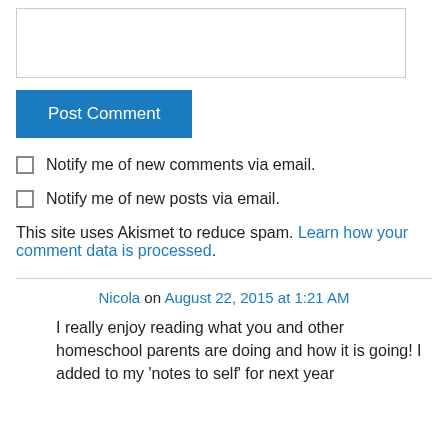[Figure (other): Text input/textarea box for comment entry]
Post Comment
Notify me of new comments via email.
Notify me of new posts via email.
This site uses Akismet to reduce spam. Learn how your comment data is processed.
Nicola on August 22, 2015 at 1:21 AM
I really enjoy reading what you and other homeschool parents are doing and how it is going! I added to my 'notes to self' for next year